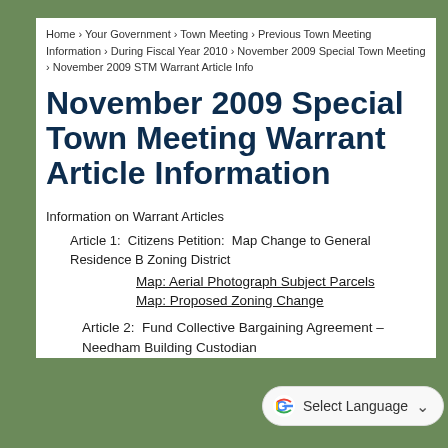Home › Your Government › Town Meeting › Previous Town Meeting Information › During Fiscal Year 2010 › November 2009 Special Town Meeting › November 2009 STM Warrant Article Info
November 2009 Special Town Meeting Warrant Article Information
Information on Warrant Articles
Article 1:  Citizens Petition:  Map Change to General Residence B Zoning District
Map: Aerial Photograph Subject Parcels
Map: Proposed Zoning Change
Article 2:  Fund Collective Bargaining Agreement – Needham Building Custodian